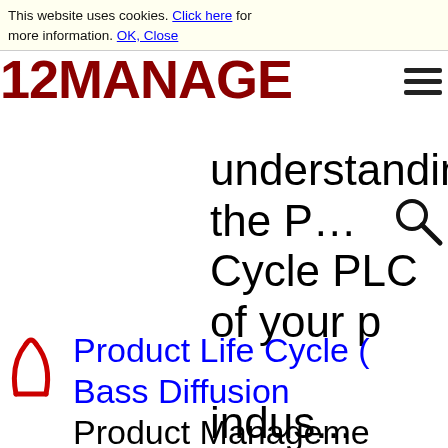This website uses cookies. Click here for more information. OK, Close
[Figure (logo): 12MANAGE logo in dark red bold text]
understanding the [Product Life] Cycle PLC of your [product/] indus...
Product Life Cycle (
Bass Diffusion
Product Management